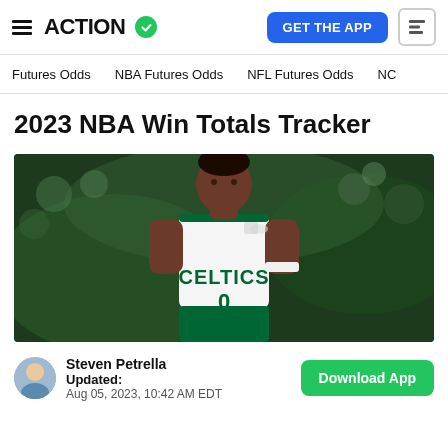ACTION [checkmark] | GET THE APP
Futures Odds   NBA Futures Odds   NFL Futures Odds   NC
2023 NBA Win Totals Tracker
[Figure (photo): Basketball player wearing a white Boston Celtics jersey with number 0, standing on court with green blurred background]
Steven Petrella
Updated:
Aug 05, 2023, 10:42 AM EDT